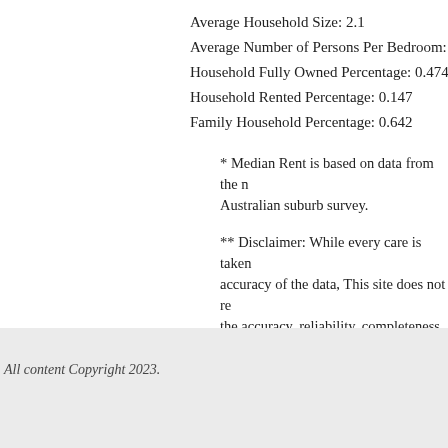Average Household Size: 2.1
Average Number of Persons Per Bedroom: 1.1
Household Fully Owned Percentage: 0.474
Household Rented Percentage: 0.147
Family Household Percentage: 0.642
* Median Rent is based on data from the Australian suburb survey.
** Disclaimer: While every care is taken accuracy of the data, This site does not re the accuracy, reliability, completeness or content for any particular purpose. Please discover an error.
All content Copyright 2023.